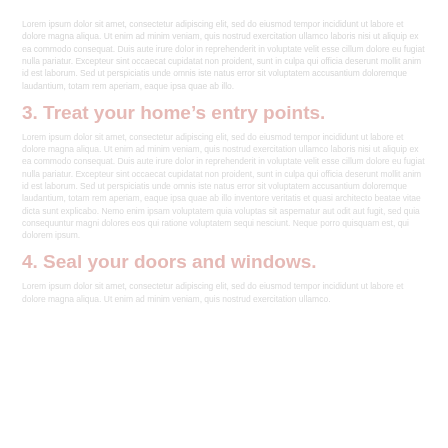faded introductory body text paragraph continuing from previous page about home treatment or pest control topics
3. Treat your home's entry points.
Body text paragraph describing how to treat entry points of your home, including doors and windows, discussing methods and products for pest prevention and control around the home's perimeter.
4. Seal your doors and windows.
Body text beginning of section about sealing doors and windows to prevent pest entry.